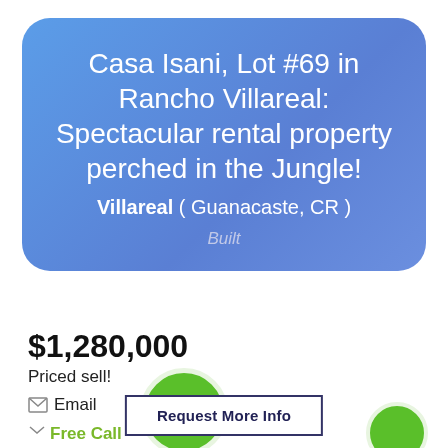Casa Isani, Lot #69 in Rancho Villareal: Spectacular rental property perched in the Jungle!
Villareal ( Guanacaste, CR )
Built
$1,280,000
Priced sell!
[Figure (illustration): Green circle phone button icon]
Email
Free Call
Request More Info